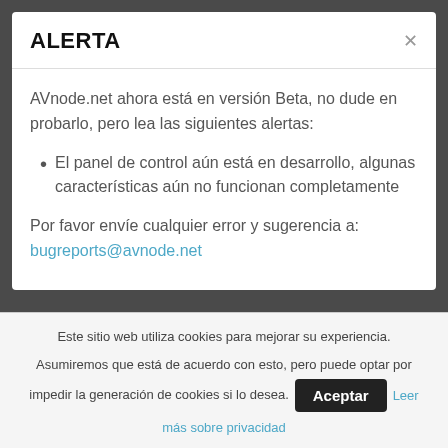ALERTA
AVnode.net ahora está en versión Beta, no dude en probarlo, pero lea las siguientes alertas:
El panel de control aún está en desarrollo, algunas características aún no funcionan completamente
Por favor envíe cualquier error y sugerencia a: bugreports@avnode.net
Este sitio web utiliza cookies para mejorar su experiencia. Asumiremos que está de acuerdo con esto, pero puede optar por impedir la generación de cookies si lo desea.
Aceptar
Leer más sobre privacidad